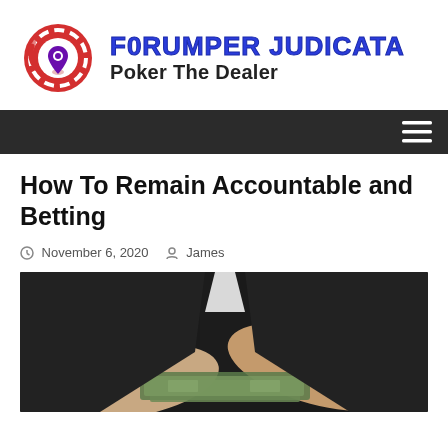FORUMPER JUDICATA – Poker The Dealer
How To Remain Accountable and Betting
November 6, 2020   James
[Figure (photo): A person in a dark suit exchanging money (cash bills) with open hands, close-up shot]